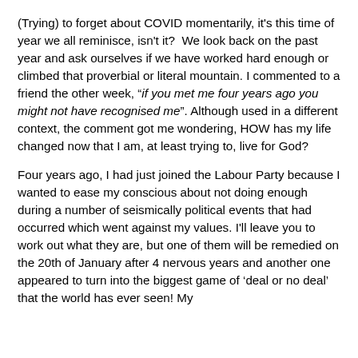(Trying) to forget about COVID momentarily, it's this time of year we all reminisce, isn't it?  We look back on the past year and ask ourselves if we have worked hard enough or climbed that proverbial or literal mountain. I commented to a friend the other week, "if you met me four years ago you might not have recognised me". Although used in a different context, the comment got me wondering, HOW has my life changed now that I am, at least trying to, live for God?
Four years ago, I had just joined the Labour Party because I wanted to ease my conscious about not doing enough during a number of seismically political events that had occurred which went against my values. I'll leave you to work out what they are, but one of them will be remedied on the 20th of January after 4 nervous years and another one appeared to turn into the biggest game of 'deal or no deal' that the world has ever seen! My